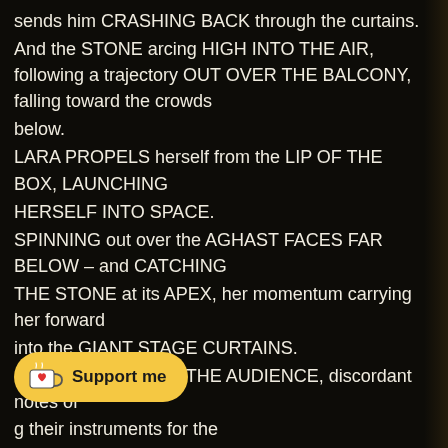sends him CRASHING BACK through the curtains.
And the STONE arcing HIGH INTO THE AIR, following a trajectory OUT OVER THE BALCONY, falling toward the crowds
below.
LARA PROPELS herself from the LIP OF THE BOX, LAUNCHING
HERSELF INTO SPACE.
SPINNING out over the AGHAST FACES FAR BELOW – and CATCHING
THE STONE at its APEX, her momentum carrying her forward
into the GIANT STAGE CURTAINS.
SCREAMING FROM THE AUDIENCE, discordant notes of
[Figure (other): Ko-fi 'Support me' button with heart and coffee cup icon]
g their instruments for the